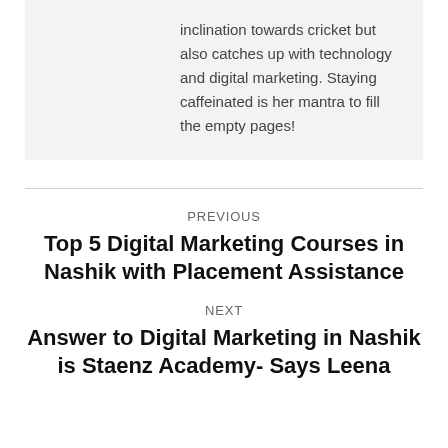inclination towards cricket but also catches up with technology and digital marketing. Staying caffeinated is her mantra to fill the empty pages!
PREVIOUS
Top 5 Digital Marketing Courses in Nashik with Placement Assistance
NEXT
Answer to Digital Marketing in Nashik is Staenz Academy- Says Leena